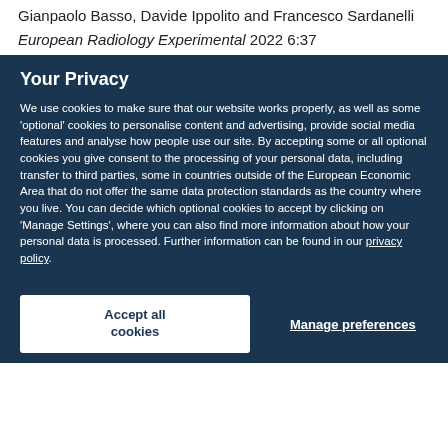Gianpaolo Basso, Davide Ippolito and Francesco Sardanelli
European Radiology Experimental 2022 6:37
Your Privacy
We use cookies to make sure that our website works properly, as well as some 'optional' cookies to personalise content and advertising, provide social media features and analyse how people use our site. By accepting some or all optional cookies you give consent to the processing of your personal data, including transfer to third parties, some in countries outside of the European Economic Area that do not offer the same data protection standards as the country where you live. You can decide which optional cookies to accept by clicking on 'Manage Settings', where you can also find more information about how your personal data is processed. Further information can be found in our privacy policy.
Accept all cookies
Manage preferences